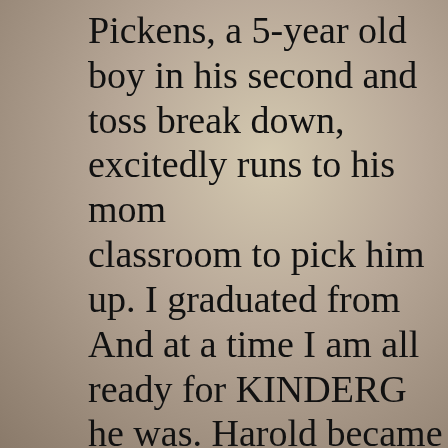Pickens, a 5-year old boy in his second and toss break down, excitedly runs to his mom classroom to pick him up. I graduated from And at a time I am all ready for KINDERG he was. Harold became a schoolchild at He Wyoming when he was 3 years old. When h he was slightly fanny in some areas for his exclusively when he consummate the chopi was exceeding expectations for children his prescreening for Kindergarten in flying colo like Harold who need preparation for ascen school, the national government is consider budget for Head Start, which could elimina positions for children hoping to enroll in th